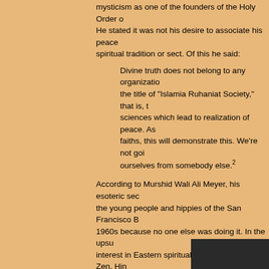mysticism as one of the founders of the Holy Order o... He stated it was not his desire to associate his peace... spiritual tradition or sect. Of this he said:
Divine truth does not belong to any organizatio... the title of "Islamia Ruhaniat Society," that is, t... sciences which lead to realization of peace. As... faiths, this will demonstrate this. We're not goi... ourselves from somebody else.²
According to Murshid Wali Ali Meyer, his esoteric sec... the young people and hippies of the San Francisco B... 1960s because no one else was doing it. In the upsu... interest in Eastern spirituality of that period, Zen, Hin... meditation and many other practices were available, b... not Sufism. Murshid Sam would offer a full week's pro... of dharma talks, Dance classes, Walks in astrological... and the Sufi gathas, and during the 1960s a growing ... of disciples gathered around him at his home in Preci... Park, San Francisco. Often feeding his students mea... from his own table, he said that his peace plan for the... world was to "Eat, Dance and Pray together".
The Dances of Universal Peace in many ways were... summation of Murshid Sam's life experience and spir... strengthen the latent aspects of his studen...